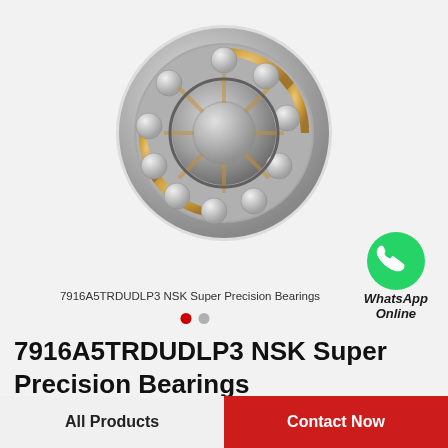[Figure (photo): Product photo of a spherical roller bearing (NSK Super Precision Bearing 7916A5TRDUDLP3) — circular bearing with gold/silver metallic finish showing rolling elements and cage]
7916A5TRDUDLP3 NSK Super Precision Bearings
[Figure (logo): WhatsApp green circle icon with phone handset, with text 'WhatsApp Online' below in bold italic]
7916A5TRDUDLP3 NSK Super Precision Bearings
All Products
Contact Now